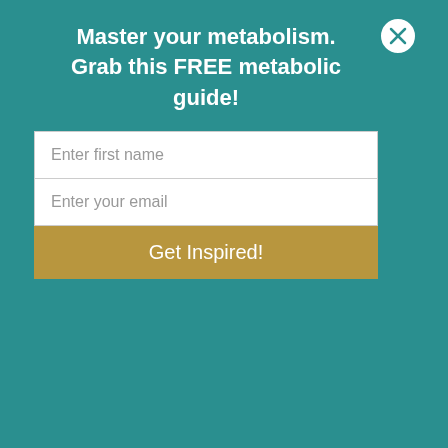Master your metabolism. Grab this FREE metabolic guide!
Enter first name
Enter your email
Get Inspired!
process over and over. This is an old paradigm that needs to stop.
Standard diagnoses are based on a cluster of symptoms. The disease process is called hypothyroidism. Yes, they did confirm the diagnosis by running tests. Hypothyroidism is typically considered an idiopathic